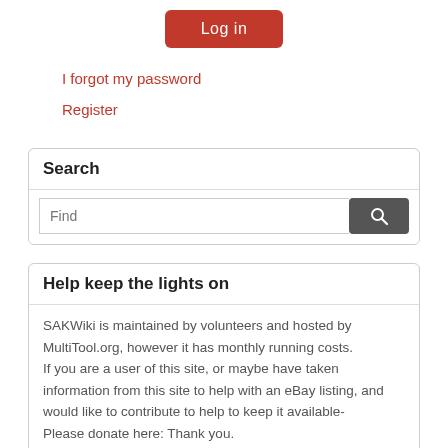Log in
I forgot my password
Register
Search
Find
Help keep the lights on
SAKWiki is maintained by volunteers and hosted by MultiTool.org, however it has monthly running costs.
If you are a user of this site, or maybe have taken information from this site to help with an eBay listing, and would like to contribute to help to keep it available-
Please donate here: Thank you.